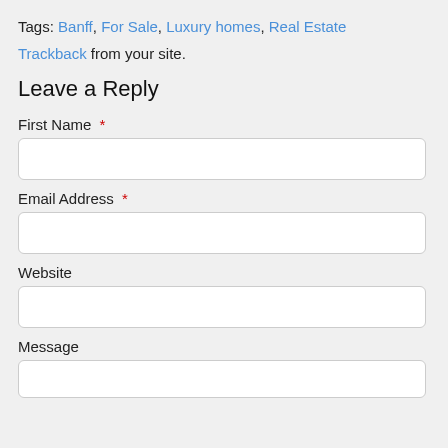Tags: Banff, For Sale, Luxury homes, Real Estate
Trackback from your site.
Leave a Reply
First Name *
Email Address *
Website
Message